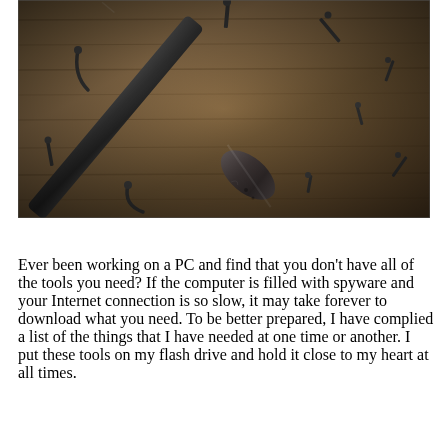[Figure (photo): A photograph of a metal tool (possibly a chisel or screwdriver handle) lying diagonally on a worn wooden surface, surrounded by several bent and scattered nails. The image has a dark, aged, vignette aesthetic.]
Ever been working on a PC and find that you don't have all of the tools you need? If the computer is filled with spyware and your Internet connection is so slow, it may take forever to download what you need. To be better prepared, I have complied a list of the things that I have needed at one time or another. I put these tools on my flash drive and hold it close to my heart at all times.